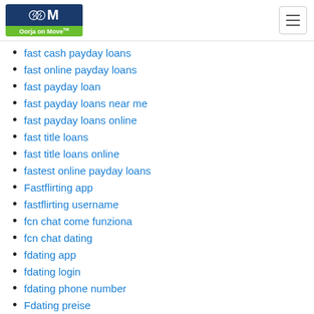Oorja on Move
fast cash payday loans
fast online payday loans
fast payday loan
fast payday loans near me
fast payday loans online
fast title loans
fast title loans online
fastest online payday loans
Fastflirting app
fastflirting username
fcn chat come funziona
fcn chat dating
fdating app
fdating login
fdating phone number
Fdating preise